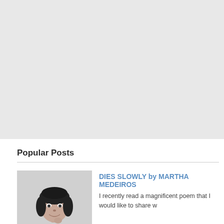[Figure (other): Gray placeholder area at top of page, likely an advertisement or image space]
Popular Posts
[Figure (photo): Black and white photo of a woman smiling, shown from shoulders up]
DIES SLOWLY by MARTHA MEDEIROS
I recently read a magnificent poem that I would like to share w